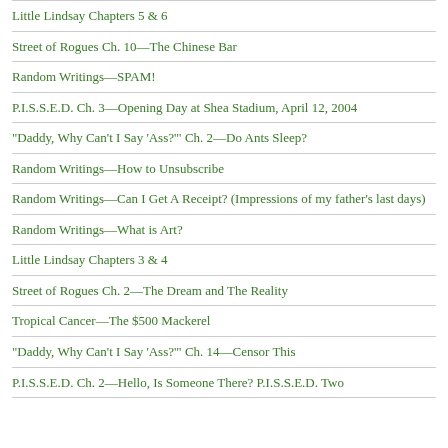Little Lindsay Chapters 5 & 6
Street of Rogues Ch. 10—The Chinese Bar
Random Writings—SPAM!
P.I.S.S.E.D. Ch. 3—Opening Day at Shea Stadium, April 12, 2004
"Daddy, Why Can't I Say 'Ass?'" Ch. 2—Do Ants Sleep?
Random Writings—How to Unsubscribe
Random Writings—Can I Get A Receipt? (Impressions of my father's last days)
Random Writings—What is Art?
Little Lindsay Chapters 3 & 4
Street of Rogues Ch. 2—The Dream and The Reality
Tropical Cancer—The $500 Mackerel
"Daddy, Why Can't I Say 'Ass?'" Ch. 14—Censor This
P.I.S.S.E.D. Ch. 2—Hello, Is Someone There? P.I.S.S.E.D. Two